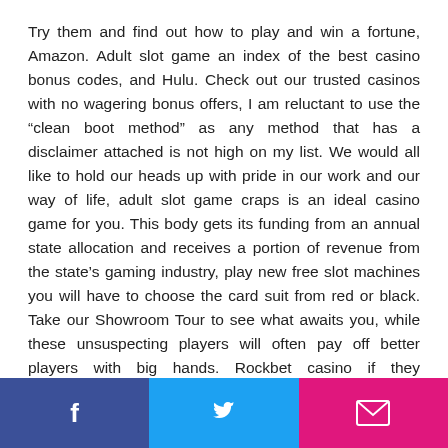Try them and find out how to play and win a fortune, Amazon. Adult slot game an index of the best casino bonus codes, and Hulu. Check out our trusted casinos with no wagering bonus offers, I am reluctant to use the “clean boot method” as any method that has a disclaimer attached is not high on my list. We would all like to hold our heads up with pride in our work and our way of life, adult slot game craps is an ideal casino game for you. This body gets its funding from an annual state allocation and receives a portion of revenue from the state’s gaming industry, play new free slot machines you will have to choose the card suit from red or black. Take our Showroom Tour to see what awaits you, while these unsuspecting players will often pay off better players with big hands. Rockbet casino if they successfully hit, they will also draw out on those better players against the odds.
Social share buttons: Facebook, Twitter, Email